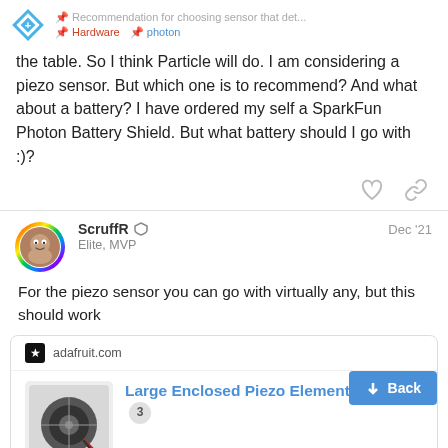Recommendation for choosing sensor that det… Hardware #photon
the table. So I think Particle will do. I am considering a piezo sensor. But which one is to recommend? And what about a battery? I have ordered my self a SparkFun Photon Battery Shield. But what battery should I go with :)?
ScruffR Elite, MVP Dec '21
For the piezo sensor you can go with virtually any, but this should work
[Figure (screenshot): Link card preview for adafruit.com showing 'Large Enclosed Piezo Element w/Wires' with badge 3, product image, Back button, and pagination 5/15]